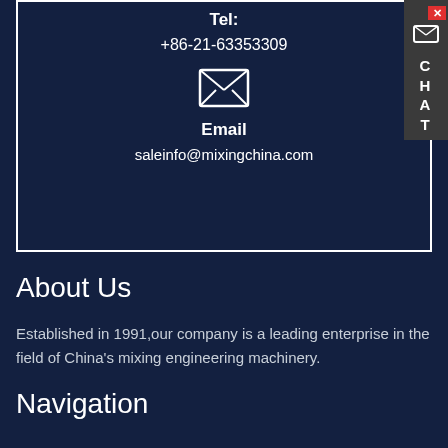Tel:
+86-21-63353309
[Figure (illustration): Envelope/email icon (white outline of envelope)]
Email
saleinfo@mixingchina.com
About Us
Established in 1991,our company is a leading enterprise in the field of China's mixing engineering machinery.
Navigation